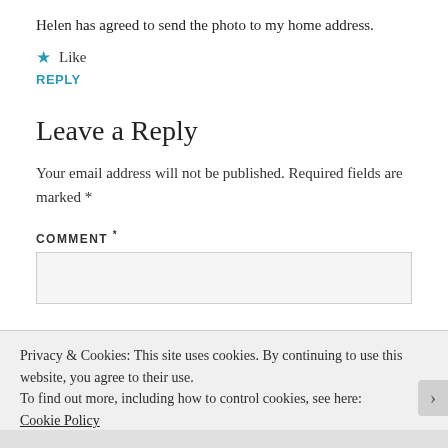Helen has agreed to send the photo to my home address.
★ Like
REPLY
Leave a Reply
Your email address will not be published. Required fields are marked *
COMMENT *
Privacy & Cookies: This site uses cookies. By continuing to use this website, you agree to their use.
To find out more, including how to control cookies, see here:
Cookie Policy
Close and accept